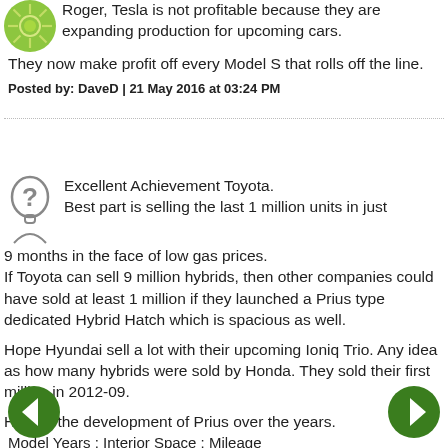Roger, Tesla is not profitable because they are expanding production for upcoming cars. They now make profit off every Model S that rolls off the line.
Posted by: DaveD | 21 May 2016 at 03:24 PM
Excellent Achievement Toyota.
Best part is selling the last 1 million units in just 9 months in the face of low gas prices.
If Toyota can sell 9 million hybrids, then other companies could have sold at least 1 million if they launched a Prius type dedicated Hybrid Hatch which is spacious as well.

Hope Hyundai sell a lot with their upcoming Ioniq Trio.
Any idea as how many hybrids were sold by Honda. They sold their first million in 2012-09.

Here is the development of Prius over the years.
Model Years : Interior Space : Mileage
1998 - 2002 : 101 cu. ft. : 40
2003 - 2009 : 112 cu. ft. : 45